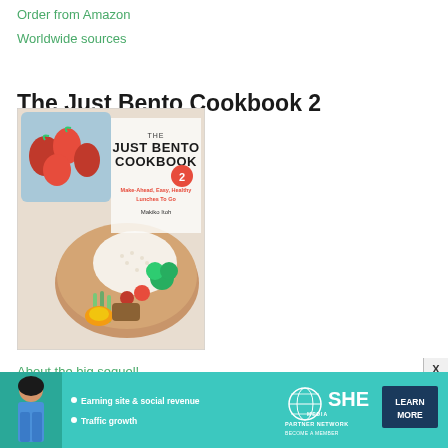Order from Amazon
Worldwide sources
The Just Bento Cookbook 2
[Figure (photo): Book cover of 'The Just Bento Cookbook 2: Make-Ahead, Easy, Healthy Lunches To Go' by Makiko Itoh, showing a bento box with rice, vegetables, and a smaller blue container with strawberries]
About the big sequel!
[Figure (infographic): SHE Partner Network advertisement banner: teal background with a woman's photo, bullets 'Earning site & social revenue' and 'Traffic growth', SHE Media logo, and 'LEARN MORE' button]